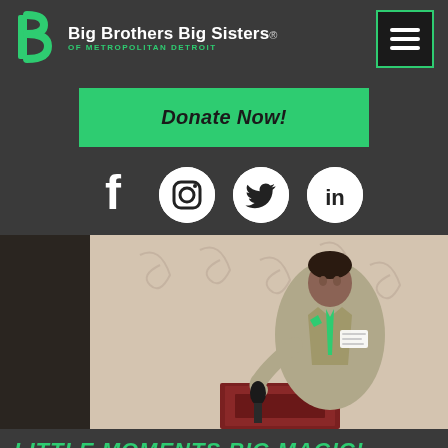[Figure (logo): Big Brothers Big Sisters of Metropolitan Detroit logo with green icon and white text, plus green menu button]
[Figure (other): Green 'Donate Now!' call-to-action button]
[Figure (other): Social media icons: Facebook, Instagram, Twitter, LinkedIn on dark background]
[Figure (photo): Man in grey suit speaking at a podium with microphone, wearing teal tie and name badge, in front of decorative curtain backdrop]
LITTLE MOMENTS BIG MAGIC! MOLINA